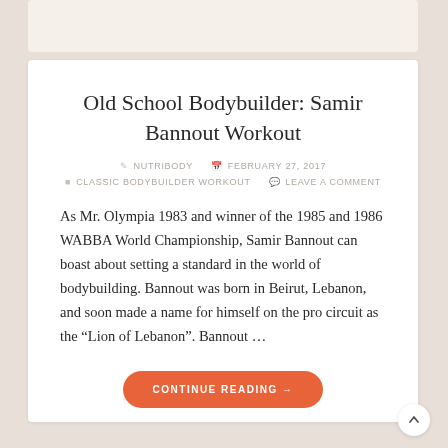Old School Bodybuilder: Samir Bannout Workout
NUTRIBODY   FEBRUARY 27, 2017
CLASSIC BODYBUILDER WORKOUT   LEAVE A COMMENT
As Mr. Olympia 1983 and winner of the 1985 and 1986 WABBA World Championship, Samir Bannout can boast about setting a standard in the world of bodybuilding. Bannout was born in Beirut, Lebanon, and soon made a name for himself on the pro circuit as the “Lion of Lebanon”. Bannout …
CONTINUE READING →